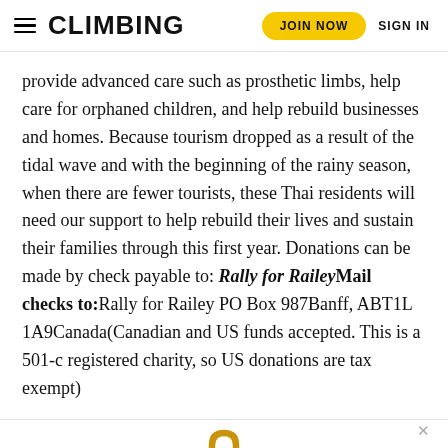CLIMBING | JOIN NOW | SIGN IN
provide advanced care such as prosthetic limbs, help care for orphaned children, and help rebuild businesses and homes. Because tourism dropped as a result of the tidal wave and with the beginning of the rainy season, when there are fewer tourists, these Thai residents will need our support to help rebuild their lives and sustain their families through this first year. Donations can be made by check payable to: Rally for RaileyMail checks to:Rally for Railey PO Box 987Banff, ABT1L 1A9Canada(Canadian and US funds accepted. This is a 501-c registered charity, so US donations are tax exempt)
[Figure (illustration): Golden padlock icon]